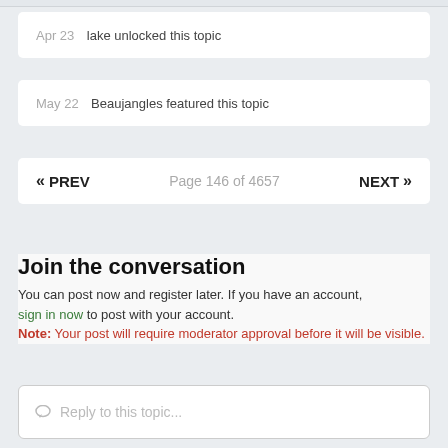Apr 23  lake unlocked this topic
May 22  Beaujangles featured this topic
« PREV   Page 146 of 4657   NEXT »
Join the conversation
You can post now and register later. If you have an account, sign in now to post with your account.
Note: Your post will require moderator approval before it will be visible.
Reply to this topic...